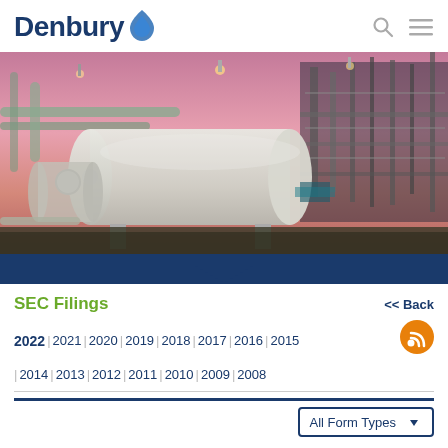Denbury
[Figure (photo): Industrial oil/gas facility with large white horizontal pressure vessel tank, pipes, and scaffolding against a pink/purple dusk sky]
SEC Filings
<< Back
2022 | 2021 | 2020 | 2019 | 2018 | 2017 | 2016 | 2015 | 2014 | 2013 | 2012 | 2011 | 2010 | 2009 | 2008
All Form Types